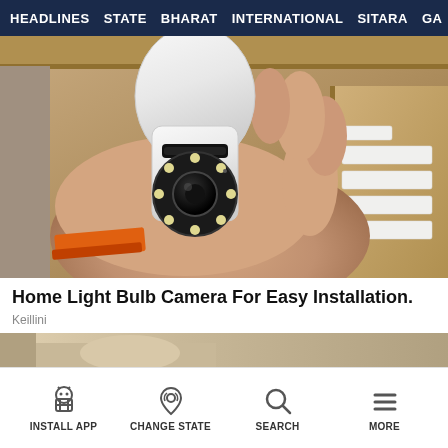HEADLINES  STATE  BHARAT  INTERNATIONAL  SITARA  GAL
[Figure (photo): A hand holding a white bulb-shaped security camera with a circular lens and LED ring, against a background of cardboard boxes and shelving. An orange label/tape is visible on the hand/wrist area.]
Home Light Bulb Camera For Easy Installation.
Keillini
[Figure (photo): Partial view of a second article image showing a similar scene with wooden/cardboard background.]
INSTALL APP  CHANGE STATE  SEARCH  MORE